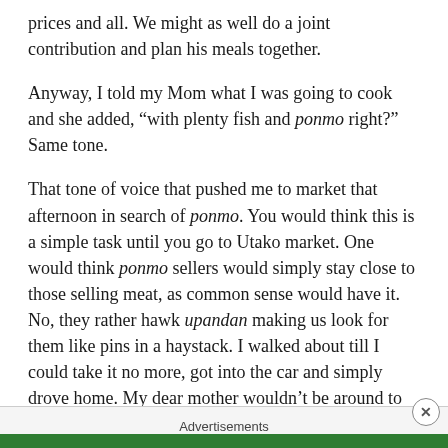prices and all. We might as well do a joint contribution and plan his meals together.
Anyway, I told my Mom what I was going to cook and she added, “with plenty fish and ponmo right?” Same tone.
That tone of voice that pushed me to market that afternoon in search of ponmo. You would think this is a simple task until you go to Utako market. One would think ponmo sellers would simply stay close to those selling meat, as common sense would have it. No, they rather hawk upandan making us look for them like pins in a haystack. I walked about till I could take it no more, got into the car and simply drove home. My dear mother wouldn’t be around to inspect the contents of my pot after all.
You see, I absolutely dislike going to the open market. I
Advertisements